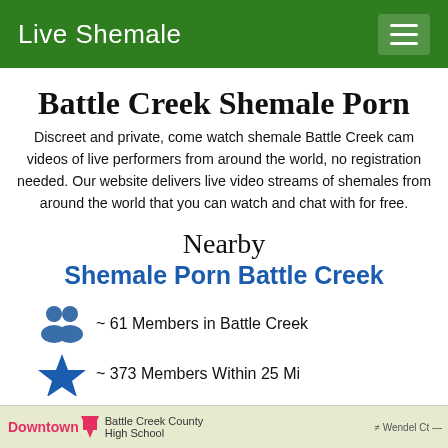Live Shemale
Battle Creek Shemale Porn
Discreet and private, come watch shemale Battle Creek cam videos of live performers from around the world, no registration needed. Our website delivers live video streams of shemales from around the world that you can watch and chat with for free.
Nearby Shemale Porn Battle Creek
~ 61 Members in Battle Creek
~ 373 Members Within 25 Mi
[Figure (map): Partial map snippet showing Downtown label, a red/pink marker arrow, Battle Creek Country High School text, and partial street labels at the bottom of the page.]